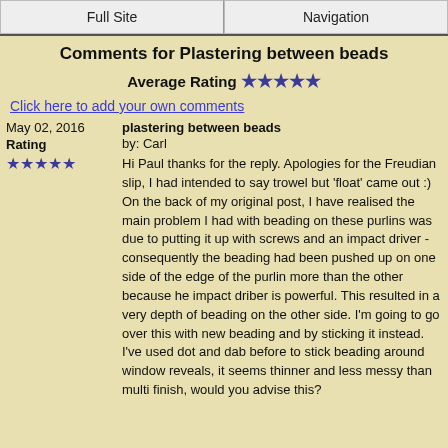Full Site | Navigation
Comments for Plastering between beads
Average Rating ★★★★★
Click here to add your own comments
May 02, 2016
Rating
★★★★★
plastering between beads
by: Carl
Hi Paul thanks for the reply. Apologies for the Freudian slip, I had intended to say trowel but 'float' came out :) On the back of my original post, I have realised the main problem I had with beading on these purlins was due to putting it up with screws and an impact driver - consequently the beading had been pushed up on one side of the edge of the purlin more than the other because he impact driber is powerful. This resulted in a very depth of beading on the other side. I'm going to go over this with new beading and by sticking it instead. I've used dot and dab before to stick beading around window reveals, it seems thinner and less messy than multi finish, would you advise this?